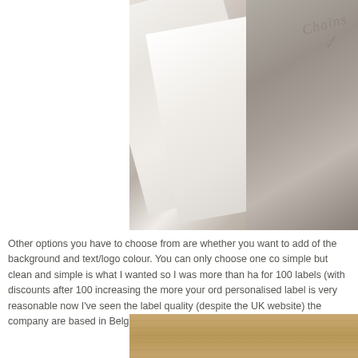[Figure (photo): Close-up photo of white fabric sewing labels/ribbons with cursive embroidered text reading 'Chainstitck' or similar, alongside grey/silver textured fabric pieces, laid on a wooden surface. The image is cropped and shows partial view from the right side of the page.]
Other options you have to choose from are whether you want to add of the background and text/logo colour. You can only choose one co simple but clean and simple is what I wanted so I was more than ha for 100 labels (with discounts after 100 increasing the more your ord personalised label is very reasonable now I've seen the label quality (despite the UK website) the company are based in Belgium; they a
[Figure (photo): Partial photo of a wooden surface/table, showing warm brown wood grain texture. Only the top portion of this image is visible at the bottom of the page.]